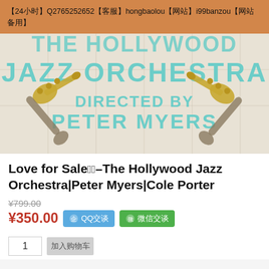【24小时】Q2765252652【客服】hongbaolou【网站】i99banzou【网站备用】
[Figure (illustration): Jazz Orchestra album cover art showing crossed trumpets and saxophones with teal lettering reading 'JAZZ ORCHESTRA DIRECTED BY PETER MYERS' on a cream/beige blueprint-style background]
Love for Sale——The Hollywood Jazz Orchestra|Peter Myers|Cole Porter
¥799.00
¥350.00
QQ交谈  微信交谈
1  加入购物车